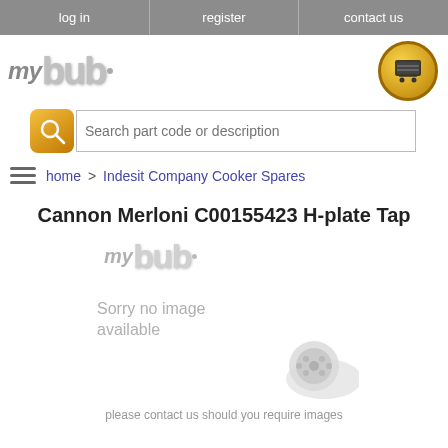log in | register | contact us
[Figure (logo): MyTub logo with stylized bubble lettering and shopping cart icon]
[Figure (other): Search bar with magnifying glass icon and placeholder text: Search part code or description]
home > Indesit Company Cooker Spares
Cannon Merloni C00155423 H-plate Tap
[Figure (illustration): MyTub placeholder image: greyscale logo with text 'Sorry no image available' and 'please contact us should you require images']